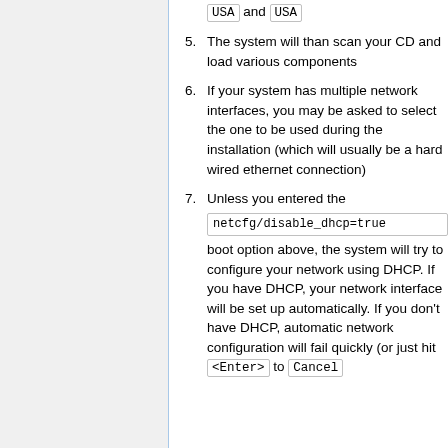USA and USA
5. The system will than scan your CD and load various components
6. If your system has multiple network interfaces, you may be asked to select the one to be used during the installation (which will usually be a hard wired ethernet connection)
7. Unless you entered the netcfg/disable_dhcp=true boot option above, the system will try to configure your network using DHCP. If you have DHCP, your network interface will be set up automatically. If you don't have DHCP, automatic network configuration will fail quickly (or just hit <Enter> to Cancel